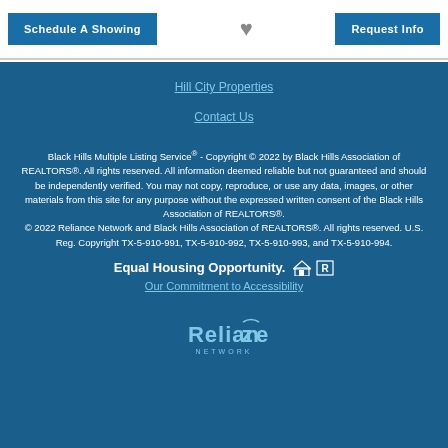Schedule A Showing
[Figure (illustration): Heart icon (favorite/save button)]
Request Info
Hill City Properties
Contact Us
Black Hills Multiple Listing Service® - Copyright © 2022 by Black Hills Association of REALTORS®. All rights reserved. All information deemed reliable but not guaranteed and should be independently verified. You may not copy, reproduce, or use any data, images, or other materials from this site for any purpose without the expressed written consent of the Black Hills Association of REALTORS®. © 2022 Reliance Network and Black Hills Association of REALTORS®. All rights reserved. U.S. Reg. Copyright TX-5-910-991, TX-5-910-992, TX-5-910-993, and TX-5-910-994.
Equal Housing Opportunity.
Our Commitment to Accessibility
[Figure (logo): Reliance Network logo]